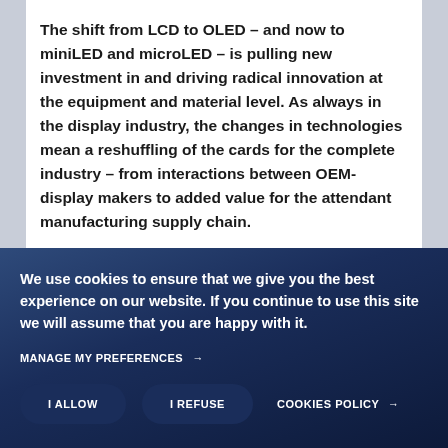The shift from LCD to OLED – and now to miniLED and microLED – is pulling new investment in and driving radical innovation at the equipment and material level. As always in the display industry, the changes in technologies mean a reshuffling of the cards for the complete industry – from interactions between OEM-display makers to added value for the attendant manufacturing supply chain.
We use cookies to ensure that we give you the best experience on our website. If you continue to use this site we will assume that you are happy with it.
MANAGE MY PREFERENCES →
I ALLOW | I REFUSE | COOKIES POLICY →